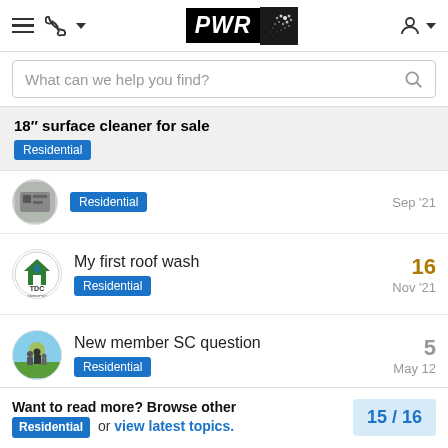PWR — navigation header with hamburger menu, phone icon, logo, and user icon
What can we help you find? [search bar]
18″ surface cleaner for sale — Residential
My first roof wash — Residential — 16 replies — Nov '21
New member SC question — Residential — 5 replies — May 12
OSHA question — Residential — 32 replies — 19d
Want to read more? Browse other Residential or view latest topics. 15/16